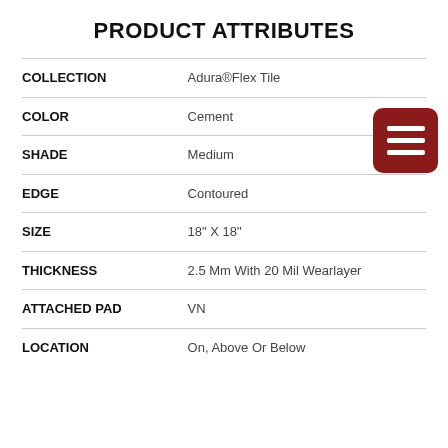PRODUCT ATTRIBUTES
| Attribute | Value |
| --- | --- |
| COLLECTION | Adura®Flex Tile |
| COLOR | Cement |
| SHADE | Medium |
| EDGE | Contoured |
| SIZE | 18" X 18" |
| THICKNESS | 2.5 Mm With 20 Mil Wearlayer |
| ATTACHED PAD | VN |
| LOCATION | On, Above Or Below |
[Figure (other): Dark red square icon with three horizontal white lines (hamburger menu icon)]